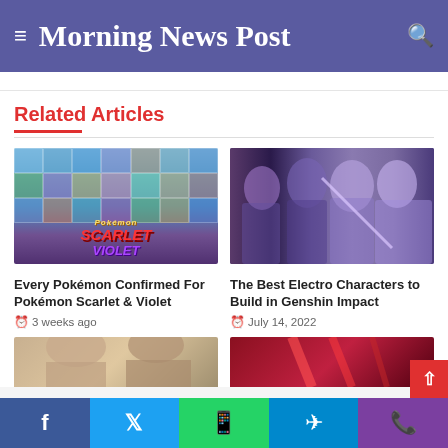Morning News Post
Related Articles
[Figure (photo): Pokemon Scarlet & Violet game artwork showing a grid of Pokemon characters with the game logo]
Every Pokémon Confirmed For Pokémon Scarlet & Violet
3 weeks ago
[Figure (photo): Genshin Impact artwork showing multiple electro characters including Raiden Shogun and others]
The Best Electro Characters to Build in Genshin Impact
July 14, 2022
[Figure (photo): Partially visible article image - faces/people]
[Figure (photo): Partially visible article image - red/dark tones]